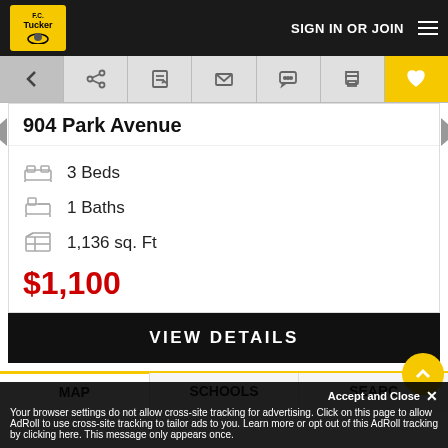F.C. Tucker | SIGN IN OR JOIN
904 Park Avenue
3 Beds
1 Baths
1,136 sq. Ft
$1,100
VIEW DETAILS
MAP | SCHOOLS | SEARCH
Accept and Close ✕
Your browser settings do not allow cross-site tracking for advertising. Click on this page to allow AdRoll to use cross-site tracking to tailor ads to you. Learn more or opt out of this AdRoll tracking by clicking here. This message only appears once.